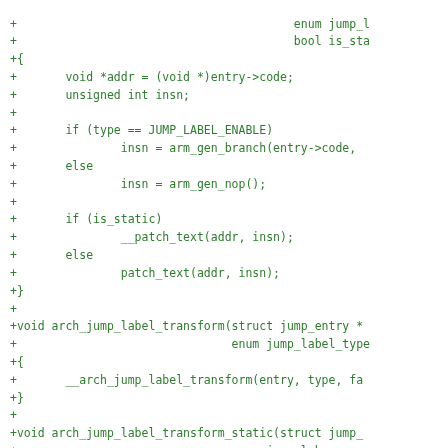[Figure (other): Source code diff showing C functions arch_jump_label_transform and arch_jump_label_transform_static with added lines marked with '+' in green monospace font]